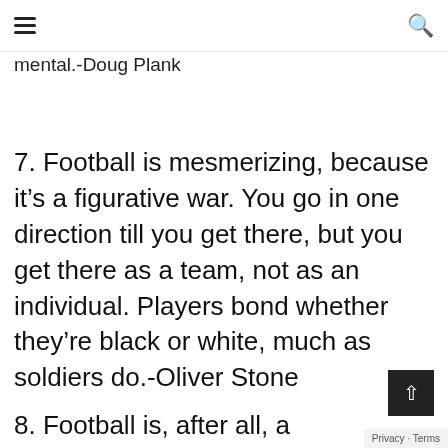≡  🔍
mental.-Doug Plank
7. Football is mesmerizing, because it's a figurative war. You go in one direction till you get there, but you get there as a team, not as an individual. Players bond whether they're black or white, much as soldiers do.-Oliver Stone
8. Football is, after all, a wonderful way to g